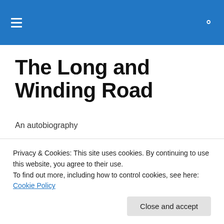The Long and Winding Road — navigation bar with hamburger menu and search icon
The Long and Winding Road
An autobiography
Post 6. The Avocado Tree
[Figure (photo): Sepia-toned vintage photograph showing people outdoors, partially visible]
Privacy & Cookies: This site uses cookies. By continuing to use this website, you agree to their use.
To find out more, including how to control cookies, see here: Cookie Policy
Close and accept